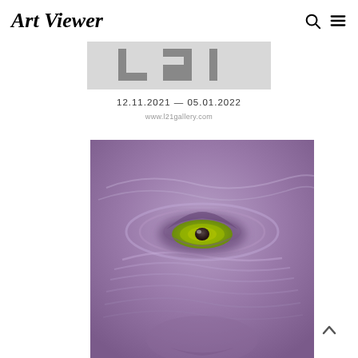Art Viewer
[Figure (logo): L21 Gallery logo in gray block letters on light gray background]
12.11.2021 — 05.01.2022
www.l21gallery.com
[Figure (photo): Close-up photograph of a surreal sculpted face with a yellow-green eye set in swirling purple-lavender textured surface]